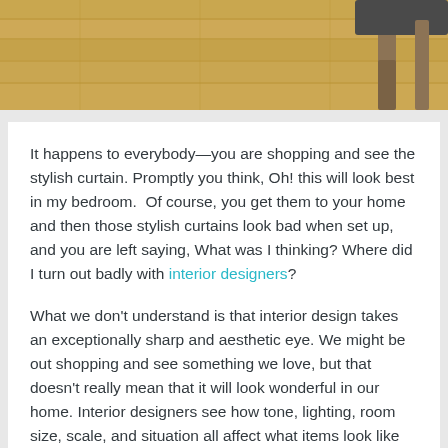[Figure (photo): Partial view of a room with wooden floor and a dark chair leg visible in upper right corner]
It happens to everybody—you are shopping and see the stylish curtain. Promptly you think, Oh! this will look best in my bedroom.  Of course, you get them to your home and then those stylish curtains look bad when set up, and you are left saying, What was I thinking? Where did I turn out badly with interior designers?
What we don't understand is that interior design takes an exceptionally sharp and aesthetic eye. We might be out shopping and see something we love, but that doesn't really mean that it will look wonderful in our home. Interior designers see how tone, lighting, room size, scale, and situation all affect what items look like